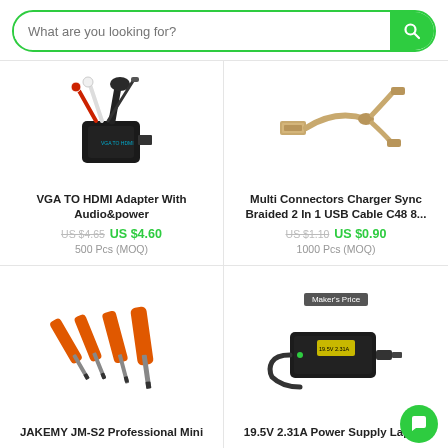[Figure (screenshot): Search bar with placeholder text 'What are you looking for?' and green search button]
[Figure (photo): VGA TO HDMI Adapter with audio cables (red and white RCA) and a VGA connector, black device]
VGA TO HDMI Adapter With Audio&power
US $4.65 US $4.60
500 Pcs (MOQ)
[Figure (photo): Gold braided 2-in-1 USB cable with micro-USB and Lightning connectors]
Multi Connectors Charger Sync Braided 2 In 1 USB Cable C48 8...
US $1.10 US $0.90
1000 Pcs (MOQ)
[Figure (photo): Set of four orange and black JAKEMY JM-S2 professional mini screwdrivers]
JAKEMY JM-S2 Professional Mini
[Figure (photo): 19.5V 2.31A black laptop power supply adapter with cable]
19.5V 2.31A Power Supply Laptop